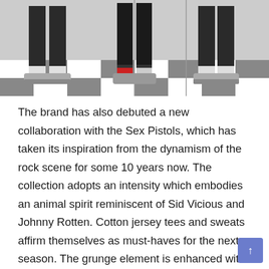[Figure (photo): Fashion photo showing multiple pairs of legs wearing dark trousers and sneakers, standing on a black and white checkered floor. Three figures visible with different footwear including sneakers and patterned socks.]
The brand has also debuted a new collaboration with the Sex Pistols, which has taken its inspiration from the dynamism of the rock scene for some 10 years now. The collection adopts an intensity which embodies an animal spirit reminiscent of Sid Vicious and Johnny Rotten. Cotton jersey tees and sweats affirm themselves as must-haves for the next season. The grunge element is enhanced with distressed finishes and punk rock jewelry details, while meticulous care has been taken with the wash of the fabric and the cotton of the Japanese denim canvas. Badges, pins and the